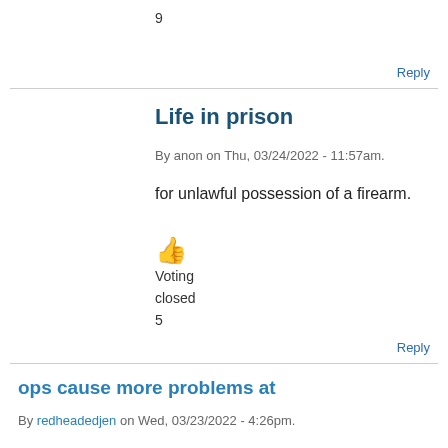9
Reply
Life in prison
By anon on Thu, 03/24/2022 - 11:57am.
for unlawful possession of a firearm.
👍 Voting closed 5
Reply
ops cause more problems at
By redheadedjen on Wed, 03/23/2022 - 4:26pm.
ops cause more problems at school than they fix.